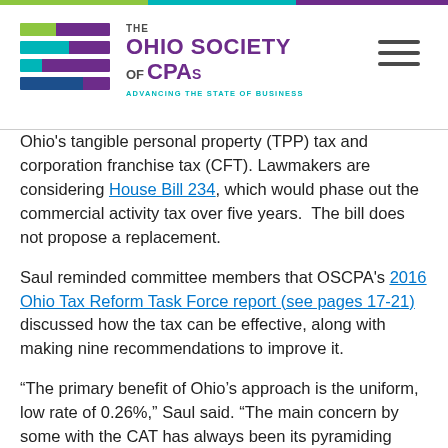THE OHIO SOCIETY OF CPAs — ADVANCING THE STATE OF BUSINESS
Ohio's tangible personal property (TPP) tax and corporation franchise tax (CFT). Lawmakers are considering House Bill 234, which would phase out the commercial activity tax over five years.  The bill does not propose a replacement.
Saul reminded committee members that OSCPA's 2016 Ohio Tax Reform Task Force report (see pages 17-21) discussed how the tax can be effective, along with making nine recommendations to improve it.
“The primary benefit of Ohio’s approach is the uniform, low rate of 0.26%,” Saul said. “The main concern by some with the CAT has always been its pyramiding effect. However, the low rate mitigates the concern about pyramiding. The higher the rate, the more